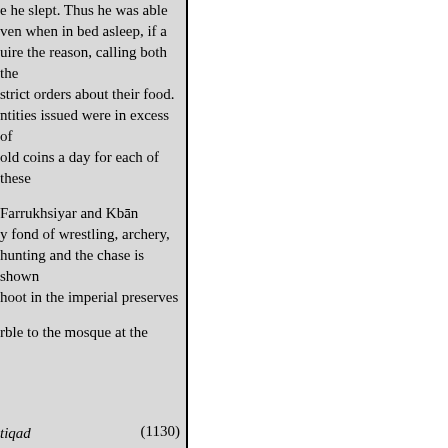e he slept. Thus he was able ven when in bed asleep, if a uire the reason, calling both the strict orders about their food. ntities issued were in excess of old coins a day for each of these
Farrukhsiyar and Kbān y fond of wrestling, archery, hunting and the chase is shown hoot in the imperial preserves
rble to the mosque at the
tiqad
shekh o shābb
osh-i-khirad
bi-z-mustajab.‖1
(1130)